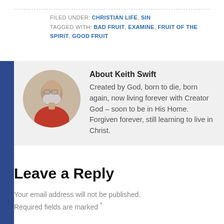FILED UNDER: CHRISTIAN LIFE, SIN
TAGGED WITH: BAD FRUIT, EXAMINE, FRUIT OF THE SPIRIT, GOOD FRUIT
[Figure (photo): Circular profile photo of Keith Swift, a man with glasses and a grey beard wearing a red shirt]
About Keith Swift
Created by God, born to die, born again, now living forever with Creator God – soon to be in His Home. Forgiven forever, still learning to live in Christ.
Leave a Reply
Your email address will not be published. Required fields are marked *